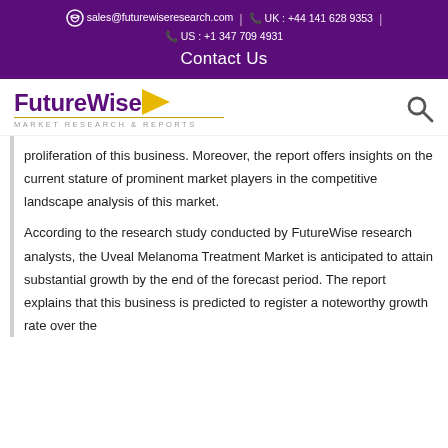sales@futurewiseresearch.com | UK : +44 141 628 9353 | US : +1 347 709 4931
Contact Us
[Figure (logo): FutureWise Market Research & Reports logo with yellow arrow and search icon]
proliferation of this business. Moreover, the report offers insights on the current stature of prominent market players in the competitive landscape analysis of this market.
According to the research study conducted by FutureWise research analysts, the Uveal Melanoma Treatment Market is anticipated to attain substantial growth by the end of the forecast period. The report explains that this business is predicted to register a noteworthy growth rate over the